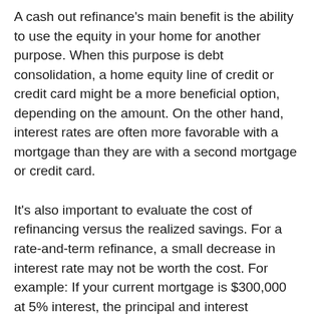A cash out refinance's main benefit is the ability to use the equity in your home for another purpose. When this purpose is debt consolidation, a home equity line of credit or credit card might be a more beneficial option, depending on the amount. On the other hand, interest rates are often more favorable with a mortgage than they are with a second mortgage or credit card.
It's also important to evaluate the cost of refinancing versus the realized savings. For a rate-and-term refinance, a small decrease in interest rate may not be worth the cost. For example: If your current mortgage is $300,000 at 5% interest, the principal and interest payment is $1,610 per month. If you refinance to a new mortgage of $300,000 at 4.75%, your new monthly payment is $1,565/month. That's a yearly savings of $540. The cost of refinancing can be $3,000 or more, which means it will take over five